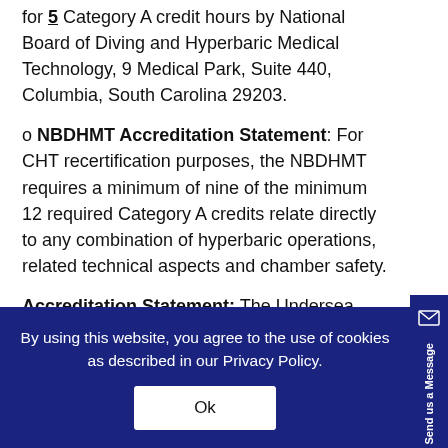for 5 Category A credit hours by National Board of Diving and Hyperbaric Medical Technology, 9 Medical Park, Suite 440, Columbia, South Carolina 29203.
o NBDHMT Accreditation Statement: For CHT recertification purposes, the NBDHMT requires a minimum of nine of the minimum 12 required Category A credits relate directly to any combination of hyperbaric operations, related technical aspects and chamber safety.
Accreditation Statement: The Undersea and
By using this website, you agree to the use of cookies as described in our Privacy Policy.